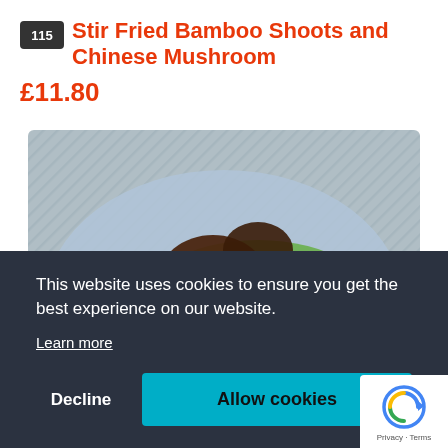115 Stir Fried Bamboo Shoots and Chinese Mushroom
£11.80
[Figure (photo): A plate of stir fried Chinese mushrooms and bamboo shoots with bok choy vegetables, served on a light blue plate with brown sauce.]
This website uses cookies to ensure you get the best experience on our website.
Learn more
Decline
Allow cookies
[Figure (logo): Google reCAPTCHA badge with circular arrow logo, Privacy and Terms links.]